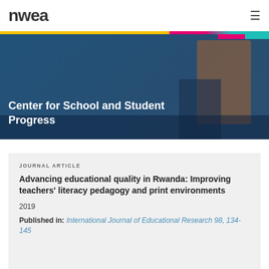nwea
[Figure (photo): Classroom photo showing a teacher helping students at computers, with a teal/blue color overlay. Text overlay reads 'Center for School and Student Progress']
Center for School and Student Progress
JOURNAL ARTICLE
Advancing educational quality in Rwanda: Improving teachers' literacy pedagogy and print environments
2019
Published in: International Journal of Educational Research 98, 134-145